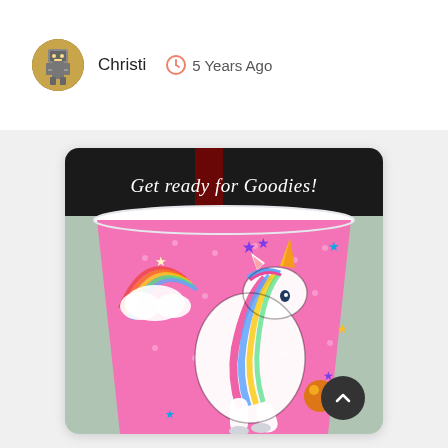Christi  5 Years Ago
[Figure (photo): A pink paper cup with a unicorn illustration and the text 'Get ready for Goodies!' on a dark background banner at the top of the cup. The cup features a white unicorn with colorful rainbow mane, stars, and clouds on a pink polka-dot background.]